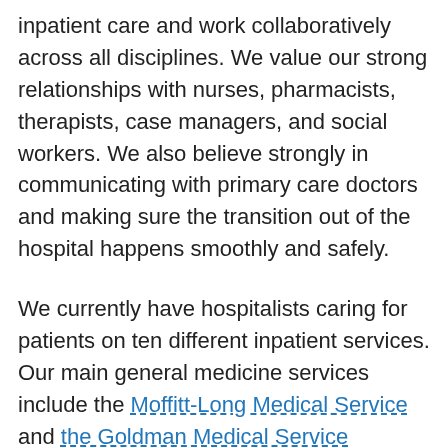inpatient care and work collaboratively across all disciplines. We value our strong relationships with nurses, pharmacists, therapists, case managers, and social workers. We also believe strongly in communicating with primary care doctors and making sure the transition out of the hospital happens smoothly and safely.
We currently have hospitalists caring for patients on ten different inpatient services. Our main general medicine services include the Moffitt-Long Medical Service and the Goldman Medical Service (attending only service). The Medicine Consultation Service at Moffitt-Long Hospital and Mission Bay evaluates and treats medical problems in patients hospitalized on non-Medicine services. The Comanagement with Neurosurgery Service